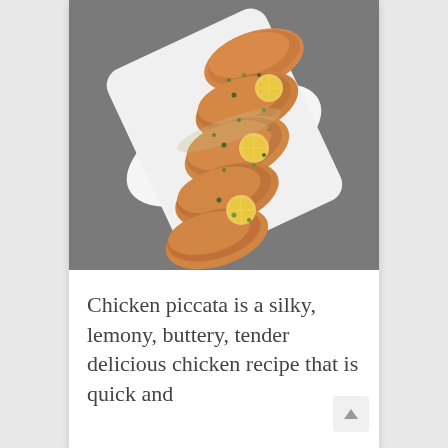[Figure (photo): A photograph of chicken piccata served on a long white rectangular plate, garnished with lemon slices and capers in a buttery sauce, on a gray background.]
Chicken piccata is a silky, lemony, buttery, tender delicious chicken recipe that is quick and